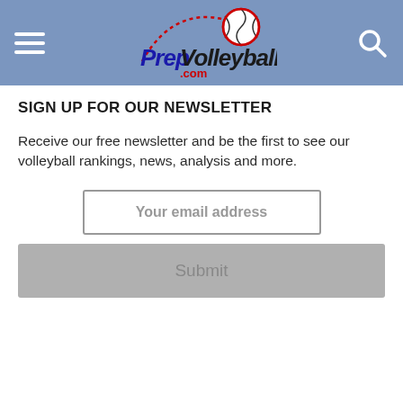[Figure (logo): PrepVolleyball.com logo with volleyball graphic and dotted arc, on a steel blue header bar with hamburger menu on left and search icon on right]
SIGN UP FOR OUR NEWSLETTER
Receive our free newsletter and be the first to see our volleyball rankings, news, analysis and more.